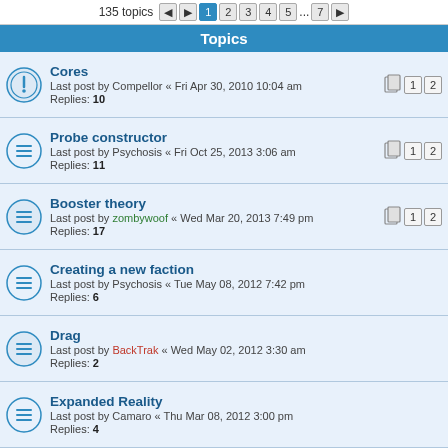135 topics  1 2 3 4 5 ... 7
Topics
Cores
Last post by Compellor « Fri Apr 30, 2010 10:04 am
Replies: 10
Probe constructor
Last post by Psychosis « Fri Oct 25, 2013 3:06 am
Replies: 11
Booster theory
Last post by zombywoof « Wed Mar 20, 2013 7:49 pm
Replies: 17
Creating a new faction
Last post by Psychosis « Tue May 08, 2012 7:42 pm
Replies: 6
Drag
Last post by BackTrak « Wed May 02, 2012 3:30 am
Replies: 2
Expanded Reality
Last post by Camaro « Thu Mar 08, 2012 3:00 pm
Replies: 4
Scout Drones
Last post by Adaven « Fri Feb 24, 2012 4:08 am
Replies: 4
DeathMatch core